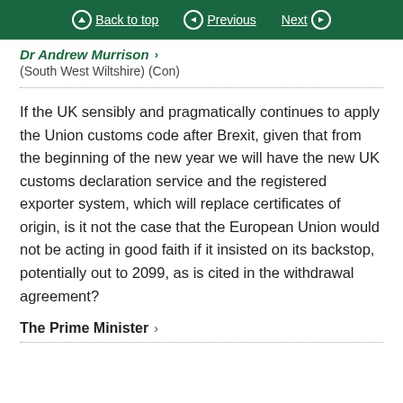Back to top  Previous  Next
Dr Andrew Murrison ›
(South West Wiltshire) (Con)
If the UK sensibly and pragmatically continues to apply the Union customs code after Brexit, given that from the beginning of the new year we will have the new UK customs declaration service and the registered exporter system, which will replace certificates of origin, is it not the case that the European Union would not be acting in good faith if it insisted on its backstop, potentially out to 2099, as is cited in the withdrawal agreement?
The Prime Minister ›